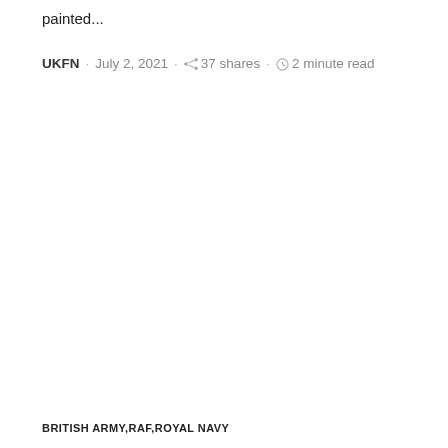painted...
UKFN · July 2, 2021 · 37 shares · 2 minute read
BRITISH ARMY,RAF,ROYAL NAVY